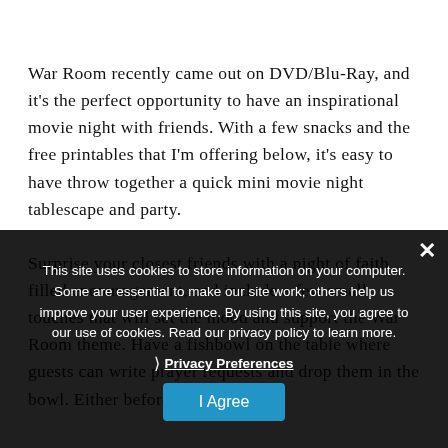War Room recently came out on DVD/Blu-Ray, and it's the perfect opportunity to have an inspirational movie night with friends. With a few snacks and the free printables that I'm offering below, it's easy to have throw together a quick mini movie night tablescape and party.
Surprise your closest friends with a night of faith filled encouragement, and include a few small touches that will set the mood and support the War Room theme. Have a fishbowl on the table where guests can write prayer requests and drop them in the bowl. Either before or after the
This site uses cookies to store information on your computer. Some are essential to make our site work; others help us improve your user experience. By using this site, you agree to our use of cookies. Read our privacy policy to learn more.
Privacy Preferences
I Agree